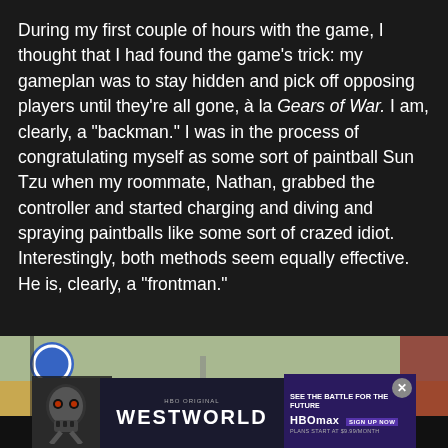During my first couple of hours with the game, I thought that I had found the game's trick: my gameplan was to stay hidden and pick off opposing players until they're all gone, à la Gears of War. I am, clearly, a "backman." I was in the process of congratulating myself as some sort of paintball Sun Tzu when my roommate, Nathan, grabbed the controller and started charging and diving and spraying paintballs like some sort of crazed idiot. Interestingly, both methods seem equally effective. He is, clearly, a "frontman."
[Figure (screenshot): Partial photo of outdoor scene with billboard/sign visible, overlaid with a Westworld HBO Max advertisement banner featuring a skull robot image, the text WESTWORLD, and promotional text 'SEE THE BATTLE FOR THE FUTURE' with HBO Max logo and 'PLANS START AT $9.99/MONTH']